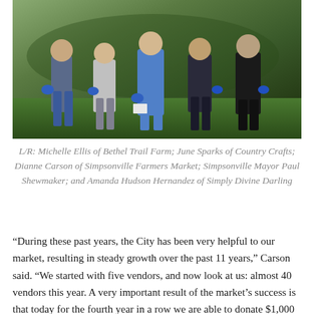[Figure (photo): Outdoor photo of five people standing on grass wearing blue gloves, holding papers or items]
L/R: Michelle Ellis of Bethel Trail Farm; June Sparks of Country Crafts; Dianne Carson of Simpsonville Farmers Market; Simpsonville Mayor Paul Shewmaker; and Amanda Hudson Hernandez of Simply Divine Darling
“During these past years, the City has been very helpful to our market, resulting in steady growth over the past 11 years,” Carson said. “We started with five vendors, and now look at us: almost 40 vendors this year. A very important result of the market’s success is that today for the fourth year in a row we are able to donate $1,000 to a local nonprofit. We are so pleased to help our community garden this year. Thanks to all the dedicated volunteers!”